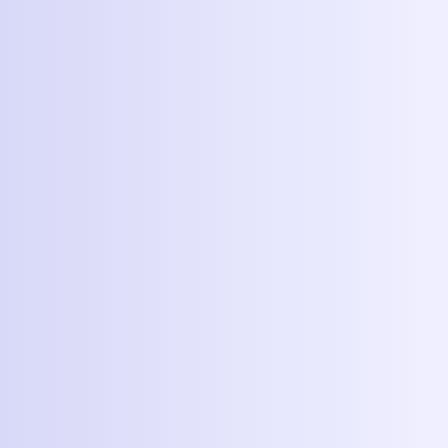| Easy Miles | Marathon Pace Miles |
| --- | --- |
| 11.58 | 0.00 |
Stretches & lunges. her father's flower g few miles this week weeks straight.  Co 11.58 miles.  1:31:
Grey Nimbu
| Easy Miles | Marathon Pace Miles |
| --- | --- |
| 5.24 | 0.00 |
Stretches & lunges. mile.  Changed into racing flats in about Physical Fitness tes the flats fit properly
I ran a quick mile to pacing for the mile a speed work or much this winter.  Everyth was surprised how